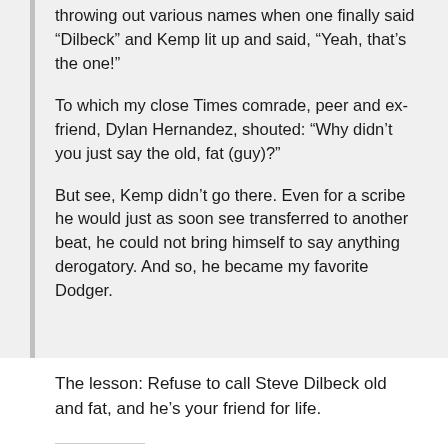throwing out various names when one finally said “Dilbeck” and Kemp lit up and said, “Yeah, that’s the one!”
To which my close Times comrade, peer and ex-friend, Dylan Hernandez, shouted: “Why didn’t you just say the old, fat (guy)?”
But see, Kemp didn’t go there. Even for a scribe he would just as soon see transferred to another beat, he could not bring himself to say anything derogatory. And so, he became my favorite Dodger.
The lesson: Refuse to call Steve Dilbeck old and fat, and he’s your friend for life.